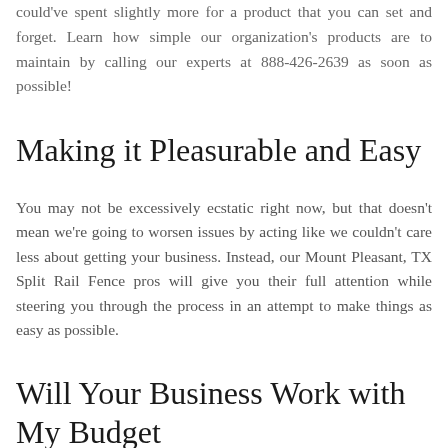could've spent slightly more for a product that you can set and forget. Learn how simple our organization's products are to maintain by calling our experts at 888-426-2639 as soon as possible!
Making it Pleasurable and Easy
You may not be excessively ecstatic right now, but that doesn't mean we're going to worsen issues by acting like we couldn't care less about getting your business. Instead, our Mount Pleasant, TX Split Rail Fence pros will give you their full attention while steering you through the process in an attempt to make things as easy as possible.
Will Your Business Work with My Budget